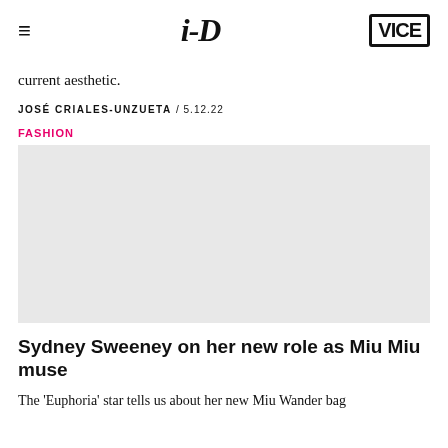≡  i-D  VICE
current aesthetic.
JOSÉ CRIALES-UNZUETA / 5.12.22
FASHION
[Figure (photo): Gray placeholder image for a fashion article photo]
Sydney Sweeney on her new role as Miu Miu muse
The 'Euphoria' star tells us about her new Miu Wander bag